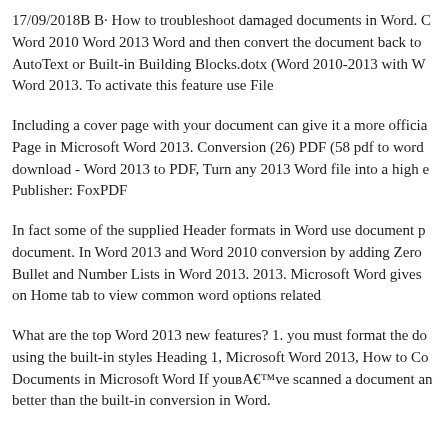17/09/2018B B· How to troubleshoot damaged documents in Word. Word 2010 Word 2013 Word and then convert the document back to AutoText or Built-in Building Blocks.dotx (Word 2010-2013 with W Word 2013. To activate this feature use File
Including a cover page with your document can give it a more officia Page in Microsoft Word 2013. Conversion (26) PDF (58 pdf to word download - Word 2013 to PDF, Turn any 2013 Word file into a high Publisher: FoxPDF
In fact some of the supplied Header formats in Word use document p document. In Word 2013 and Word 2010 conversion by adding Zero Bullet and Number Lists in Word 2013. 2013. Microsoft Word gives on Home tab to view common word options related
What are the top Word 2013 new features? 1. you must format the do using the built-in styles Heading 1, Microsoft Word 2013, How to Co Documents in Microsoft Word If youвЂ™ve scanned a document an better than the built-in conversion in Word.